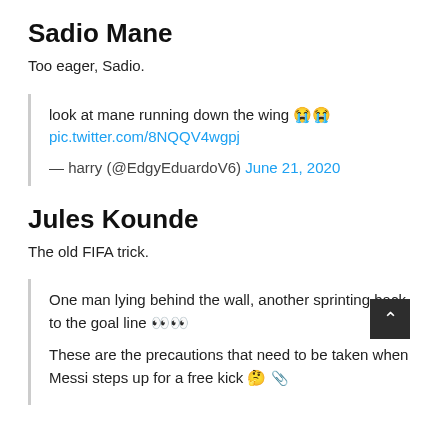Sadio Mane
Too eager, Sadio.
look at mane running down the wing 😭😭 pic.twitter.com/8NQQV4wgpj

— harry (@EdgyEduardoV6) June 21, 2020
Jules Kounde
The old FIFA trick.
One man lying behind the wall, another sprinting back to the goal line 👀👀

These are the precautions that need to be taken when Messi steps up for a free kick 🤔